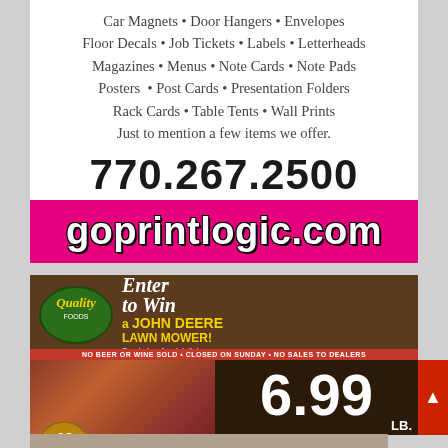Car Magnets • Door Hangers • Envelopes Floor Decals • Job Tickets • Labels • Letterheads Magazines • Menus • Note Cards • Note Pads Posters • Post Cards • Presentation Folders Rack Cards • Table Tents • Wall Prints Just to mention a few items we offer.
770.267.2500
Located in Monroe • 2016 Leroy Anderson Rd.
goprintlogic.com
[Figure (photo): Quality Foods grocery store advertisement featuring a John Deere lawn mower giveaway and a sale on Angus Beef Whole Boneless New York Strip at 6.99/LB. Includes Quality Foods logo with 40 Years badge, image of sliced beef, and price details.]